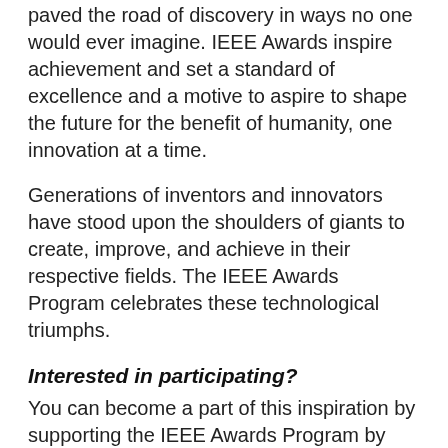paved the road of discovery in ways no one would ever imagine. IEEE Awards inspire achievement and set a standard of excellence and a motive to aspire to shape the future for the benefit of humanity, one innovation at a time.
Generations of inventors and innovators have stood upon the shoulders of giants to create, improve, and achieve in their respective fields. The IEEE Awards Program celebrates these technological triumphs.
Interested in participating?
You can become a part of this inspiration by supporting the IEEE Awards Program by becoming a nominator, a committee member, or joining our illustrious group of award